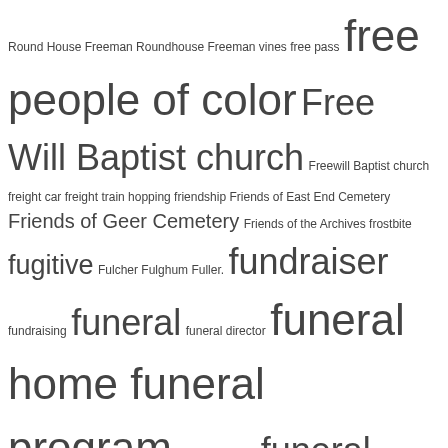[Figure (other): Tag cloud / index of terms from a library or archival index, ranging from small to large font sizes indicating frequency or importance. Terms include: Round House Freeman Roundhouse Freeman vines free pass, free people of color, Free Will Baptist church, Freewill Baptist church, freight car, freight train hopping, friendship, Friends of East End Cemetery, Friends of Geer Cemetery, Friends of the Archives, frostbite, fugitive, Fulcher, Fulghum, Fuller, fundraiser, fundraising, funeral, funeral director, funeral home, funeral program, funeral records, funeral register, furlough, furniture, fusion, Gaffney, Gaither, gambling, gangrene, garden, gardening, Gardners township, Garveyite, gas chamber, gas mask, Gaston, gastrointestinal disease, Gause, Gay, Gear, genealogy, Genius Grant, Gentlemen's Agreement, gentrification, Geographic Information System, George, George H. White, Georgia State Industrial College, Gerald, Gervin, gifts, GIG360, Gilchrist, Giles, Gillespie, Gillespie Normal School, Gilliam, Girl Scouts, GIS, giving back, glee club, Globe Theatre, Godfrey, Goffney, Golden Glove, Goldsboro NC, Goldsboro Street, golf caddy, Golston, Gordon, Gorham, gospel, gospel quartet, GPR, Grab Neck, Grabneck, Grabneck community, graded school, graduation, Graham, grandfather, and more.]